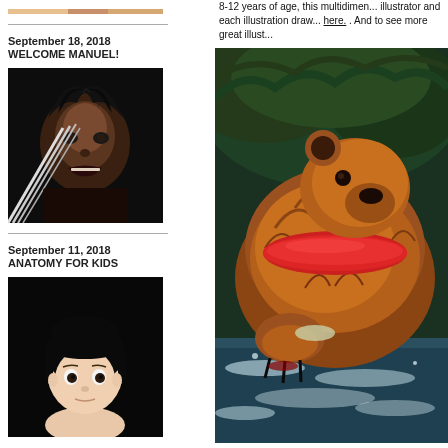[Figure (photo): Cropped top portion of an illustration/photo at very top of left column]
September 18, 2018
WELCOME MANUEL!
[Figure (illustration): Dark digital illustration of Wolverine character with claws raised, intense expression, black hair, dark background]
September 11, 2018
ANATOMY FOR KIDS
[Figure (illustration): 3D rendered child/doll figure with black bob haircut, light skin, black background]
8-12 years of age, this multidimen... illustrator and each illustration draw... here. . And to see more great illust...
[Figure (illustration): Detailed digital painting of a large orange/brown furry bear with a red band/collar catching fish in rushing water, green foliage background]